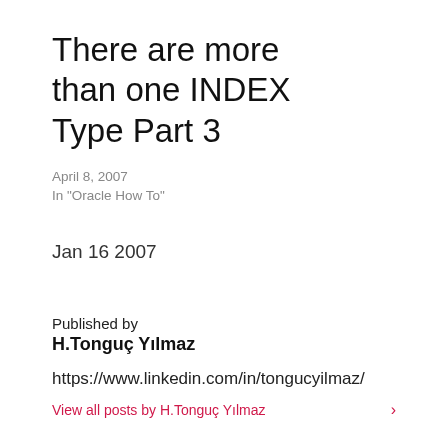There are more than one INDEX Type Part 3
April 8, 2007
In "Oracle How To"
Jan 16 2007
Published by
H.Tonguç Yılmaz
https://www.linkedin.com/in/tongucyilmaz/
View all posts by H.Tonguç Yılmaz ›